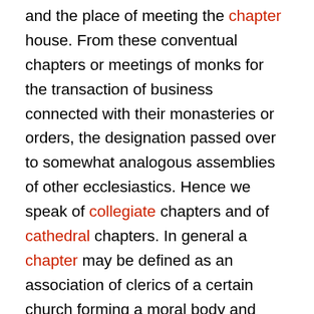and the place of meeting the chapter house. From these conventual chapters or meetings of monks for the transaction of business connected with their monasteries or orders, the designation passed over to somewhat analogous assemblies of other ecclesiastics. Hence we speak of collegiate chapters and of cathedral chapters. In general a chapter may be defined as an association of clerics of a certain church forming a moral body and instituted by ecclesiastical authority for the purpose of promoting the divine worship by means of choir service. If it be a cathedral chapter, however, its principal object is to assist the bishop in the government of his diocese, and the choir service is